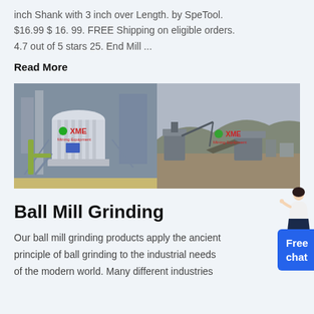inch Shank with 3 inch over Length. by SpeTool. $16.99 $ 16. 99. FREE Shipping on eligible orders. 4.7 out of 5 stars 25. End Mill ...
Read More
[Figure (photo): Two industrial photos side by side: left shows a large vertical ball mill/grinding machine (XME branded), right shows an outdoor mining/crushing facility (XME branded). A chat widget with a female figure and 'Free chat' button appears on the right edge.]
Ball Mill Grinding
Our ball mill grinding products apply the ancient principle of ball grinding to the industrial needs of the modern world. Many different industries